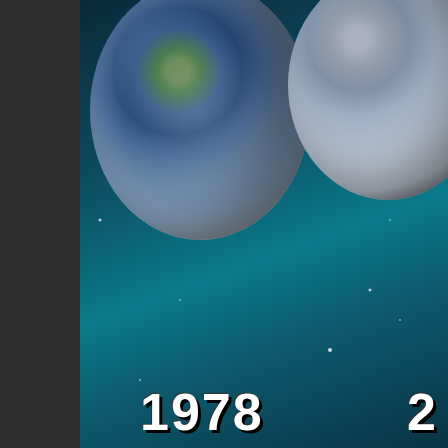[Figure (photo): Two images of Earth from space side by side. Left image labeled '1978' shows Earth with blue oceans and green/brown landmasses. Right image (partially visible, label starts with '2') shows Earth with more gray/white coloring suggesting ice or reduced vegetation.]
It's quite apparent you have been
[Figure (photo): Three circular images of Earth from space in a row on black background, each showing different views and colorations of the planet.]
Come on NASA* make your m what does the earth really lo